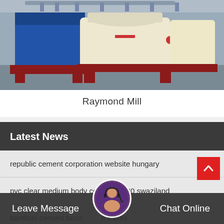[Figure (photo): Industrial Raymond Mill machinery in a factory setting — large blue and cream-colored milling machines on red metal frames]
Raymond Mill
Latest News
republic cement corporation website hungary
pvc clear medium body cement60020 swaziland
bamburi cement facto... d states